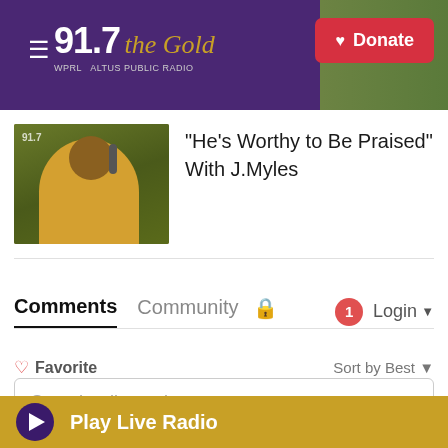[Figure (screenshot): WPRL 91.7 The Gold radio station website header with purple background, logo, and Donate button]
[Figure (photo): Radio DJ in yellow hoodie sitting at microphone in studio]
"He's Worthy to Be Praised" With J.Myles
Comments   Community   🔒   1   Login ▾
♡ Favorite   Sort by Best ▾
Start the discussion...
LOG IN WITH
Play Live Radio